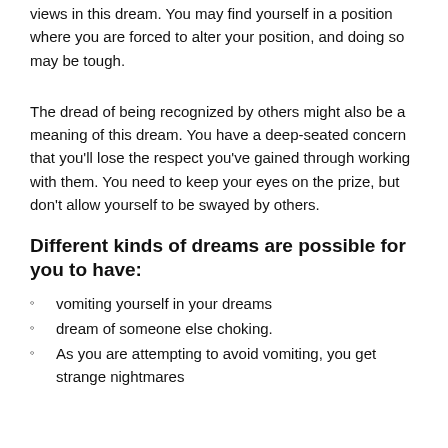views in this dream. You may find yourself in a position where you are forced to alter your position, and doing so may be tough.
The dread of being recognized by others might also be a meaning of this dream. You have a deep-seated concern that you'll lose the respect you've gained through working with them. You need to keep your eyes on the prize, but don't allow yourself to be swayed by others.
Different kinds of dreams are possible for you to have:
vomiting yourself in your dreams
dream of someone else choking.
As you are attempting to avoid vomiting, you get strange nightmares